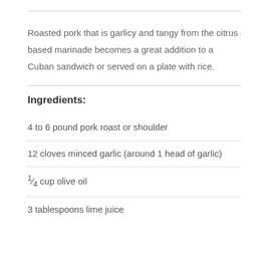Roasted pork that is garlicy and tangy from the citrus based marinade becomes a great addition to a Cuban sandwich or served on a plate with rice.
Ingredients:
4 to 6 pound pork roast or shoulder
12 cloves minced garlic (around 1 head of garlic)
¼ cup olive oil
3 tablespoons lime juice